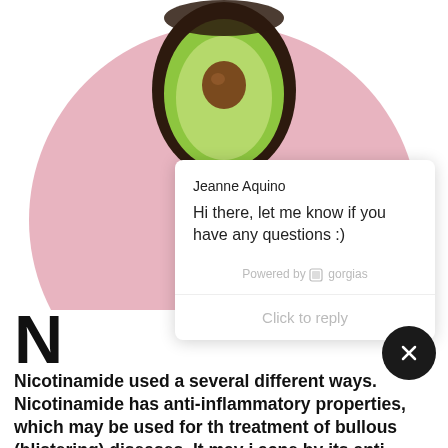[Figure (photo): Overhead view of a halved avocado on a pink circular background, top half of circle visible]
Jeanne Aquino
Hi there, let me know if you have any questions :)
Powered by gorgias
Click to reply
Nicotinamide used a several different ways. Nicotinamide has anti-inflammatory properties, which may be used for the treatment of bullous (blistering) diseases. It may i acne by its anti-inflammatory action and by reducing sebum.